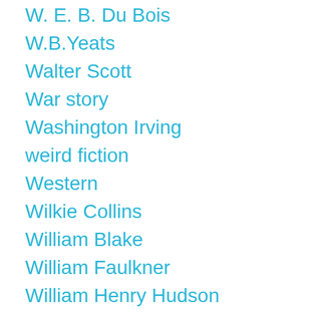W. E. B. Du Bois
W.B.Yeats
Walter Scott
War story
Washington Irving
weird fiction
Western
Wilkie Collins
William Blake
William Faulkner
William Henry Hudson
William Hope Hodgson
William Morris